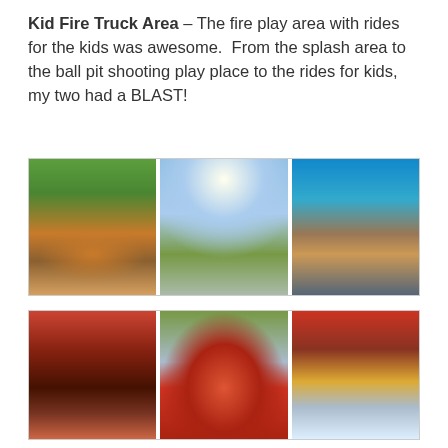Kid Fire Truck Area – The fire play area with rides for the kids was awesome.  From the splash area to the ball pit shooting play place to the rides for kids, my two had a BLAST!
[Figure (photo): Three side-by-side photos of a kid fire truck themed amusement area: left shows a landscaped garden area with fire truck decorations, center shows a carnival ride with spinning gondolas against blue sky, right shows kids riding a train-style fire truck ride.]
[Figure (photo): Three side-by-side photos: left shows a mascot (dalmatian dog character) posing with a child in a red building entrance, center shows a red and gold themed building exterior with signage, right shows children riding a fire truck ride with a 'Fire Ladder Company' sign.]